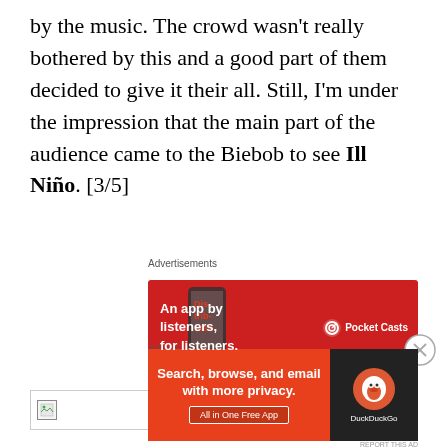by the music. The crowd wasn't really bothered by this and a good part of them decided to give it their all. Still, I'm under the impression that the main part of the audience came to the Biebob to see Ill Niño. [3/5]
Advertisements
[Figure (other): Pocket Casts advertisement banner: 'An app by listeners, for listeners.']
[Figure (other): Broken image placeholder box]
Advertisements
[Figure (other): DuckDuckGo advertisement banner: 'Search, browse, and email with more privacy. All in One Free App']